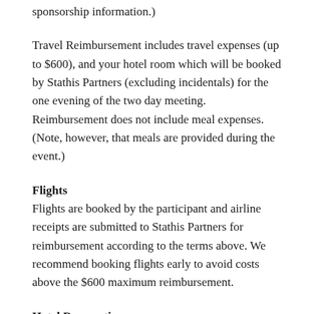sponsorship information.)
Travel Reimbursement includes travel expenses (up to $600), and your hotel room which will be booked by Stathis Partners (excluding incidentals) for the one evening of the two day meeting. Reimbursement does not include meal expenses. (Note, however, that meals are provided during the event.)
Flights
Flights are booked by the participant and airline receipts are submitted to Stathis Partners for reimbursement according to the terms above. We recommend booking flights early to avoid costs above the $600 maximum reimbursement.
Hotel Reservations
Stathis Partners will make your hotel reservations at the hotel specified above for the one night of the event...